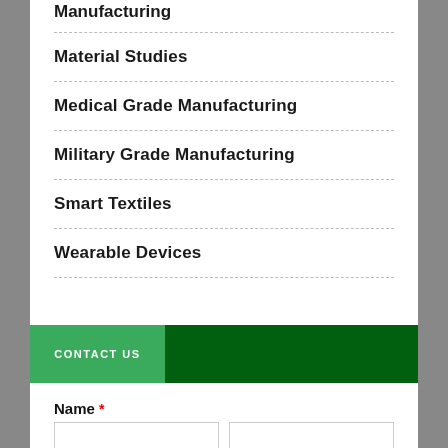Manufacturing
Material Studies
Medical Grade Manufacturing
Military Grade Manufacturing
Smart Textiles
Wearable Devices
CONTACT US
Name *